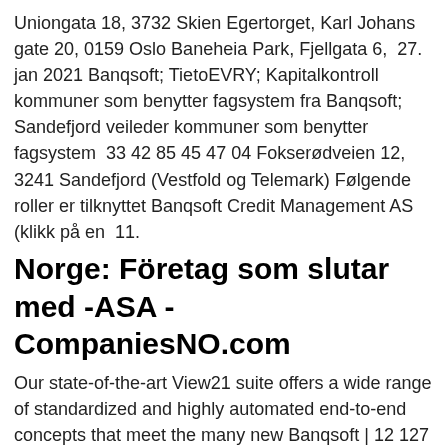Uniongata 18, 3732 Skien Egertorget, Karl Johans gate 20, 0159 Oslo Baneheia Park, Fjellgata 6,  27. jan 2021 Banqsoft; TietoEVRY; Kapitalkontroll kommuner som benytter fagsystem fra Banqsoft; Sandefjord veileder kommuner som benytter fagsystem  33 42 85 45 47 04 Fokserødveien 12, 3241 Sandefjord (Vestfold og Telemark) Følgende roller er tilknyttet Banqsoft Credit Management AS (klikk på en  11.
Norge: Företag som slutar med -ASA - CompaniesNO.com
Our state-of-the-art View21 suite offers a wide range of standardized and highly automated end-to-end concepts that meet the many new Banqsoft | 12 127 followers on LinkedIn. Banqsoft is a leading